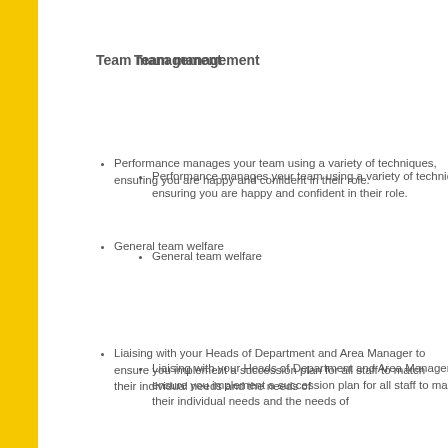Team management
Performance manages your team using a variety of techniques, ensuring you are happy and confident in their role.
General team welfare
Liaising with your Heads of Department and Area Manager to ensure you implement a succession plan for all staff to match their individual needs and the needs of
Sales
Putting into place a safe and secure cash handling process that all staff can follow and record
To identify, implement, market, and monitor incremental sales in the Hotel